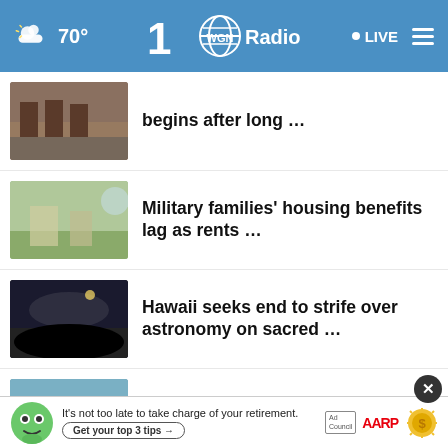70° WGN Radio LIVE
begins after long …
Military families' housing benefits lag as rents …
Hawaii seeks end to strife over astronomy on sacred …
Workers at UK's largest container port to join rail …
Chemical tanker, cargo ship crash near southwestern …
Germany, US note 'courage' ofailed
It's not too late to take charge of your retirement. Get your top 3 tips →  Ad Council  AARP